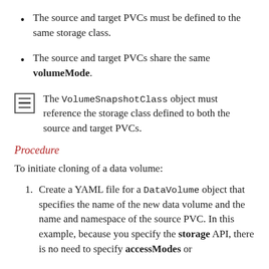The source and target PVCs must be defined to the same storage class.
The source and target PVCs share the same volumeMode.
The VolumeSnapshotClass object must reference the storage class defined to both the source and target PVCs.
Procedure
To initiate cloning of a data volume:
Create a YAML file for a DataVolume object that specifies the name of the new data volume and the name and namespace of the source PVC. In this example, because you specify the storage API, there is no need to specify accessModes or